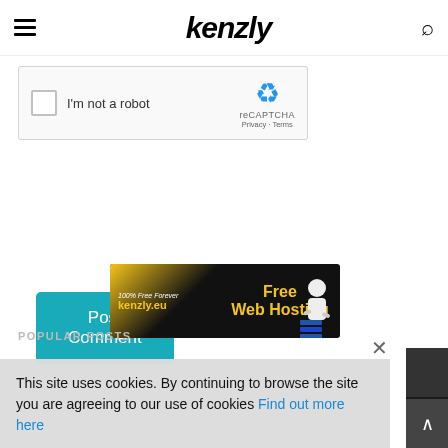kenzly
[Figure (screenshot): reCAPTCHA widget with checkbox 'I'm not a robot']
Post Comment
[Figure (screenshot): Advertisement banner for kenzly.eu free web hosting — '100% Free Forever kenzly.eu Free Web Hosting']
POPULAR POSTS
This site uses cookies. By continuing to browse the site you are agreeing to our use of cookies Find out more here